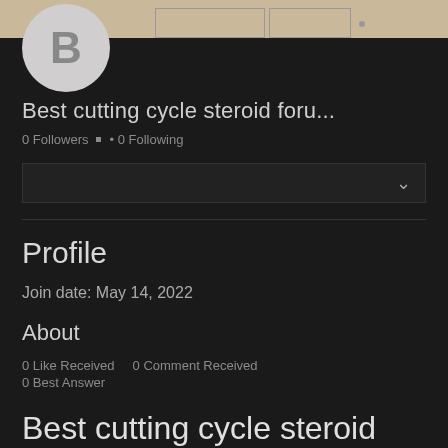[Figure (illustration): User avatar circle with letter B on dark background, with tan/beige top bar containing table outline elements]
Best cutting cycle steroid foru...
0 Followers • 0 Following
Profile
Join date: May 14, 2022
About
0 Like Received   0 Comment Received
0 Best Answer
Best cutting cycle steroid